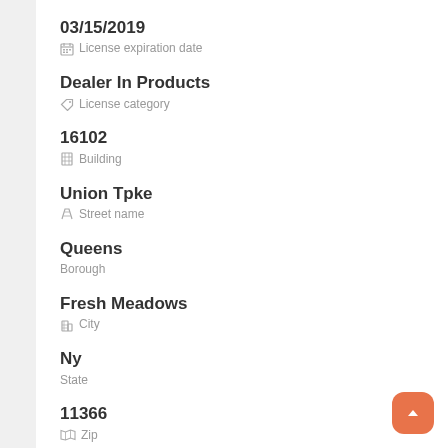03/15/2019
License expiration date
Dealer In Products
License category
16102
Building
Union Tpke
Street name
Queens
Borough
Fresh Meadows
City
Ny
State
11366
Zip
(718)413-6908